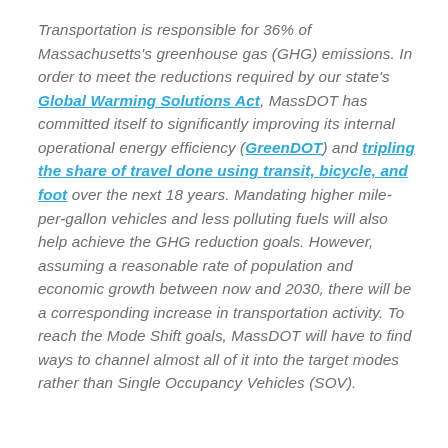Transportation is responsible for 36% of Massachusetts's greenhouse gas (GHG) emissions. In order to meet the reductions required by our state's Global Warming Solutions Act, MassDOT has committed itself to significantly improving its internal operational energy efficiency (GreenDOT) and tripling the share of travel done using transit, bicycle, and foot over the next 18 years. Mandating higher mile-per-gallon vehicles and less polluting fuels will also help achieve the GHG reduction goals. However, assuming a reasonable rate of population and economic growth between now and 2030, there will be a corresponding increase in transportation activity. To reach the Mode Shift goals, MassDOT will have to find ways to channel almost all of it into the target modes rather than Single Occupancy Vehicles (SOV).